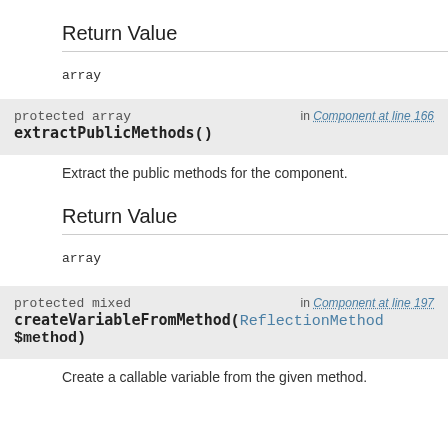Return Value
array
protected array extractPublicMethods()  in Component at line 166
Extract the public methods for the component.
Return Value
array
protected mixed createVariableFromMethod(ReflectionMethod $method)  in Component at line 197
Create a callable variable from the given method.